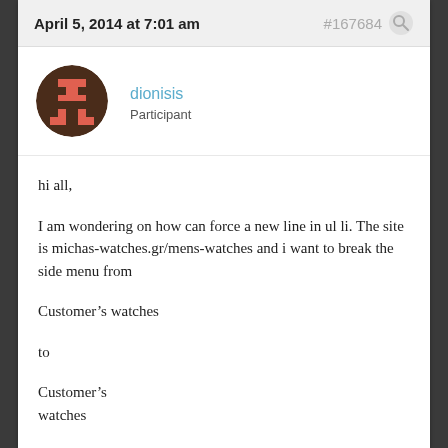April 5, 2014 at 7:01 am  #167684
[Figure (illustration): Pixel art avatar of a brown and red character in a circle]
dionisis
Participant
hi all,
I am wondering on how can force a new line in ul li. The site is michas-watches.gr/mens-watches and i want to break the side menu from
Customer’s watches
to
Customer’s
watches